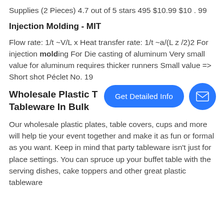Supplies (2 Pieces) 4.7 out of 5 stars 495 $10.99 $10 . 99
Injection Molding - MIT
Flow rate: 1/t ~V/L x Heat transfer rate: 1/t ~a/(L z /2)2 For injection molding For Die casting of aluminum Very small value for aluminum requires thicker runners Small value => Short shot Péclet No. 19
Wholesale Plastic Tableware In Bulk
[Figure (other): Blue rounded rectangle button labeled 'Get Detailed Info' and a blue circular mail icon button]
Our wholesale plastic plates, table covers, cups and more will help tie your event together and make it as fun or formal as you want. Keep in mind that party tableware isn't just for place settings. You can spruce up your buffet table with the serving dishes, cake toppers and other great plastic tableware